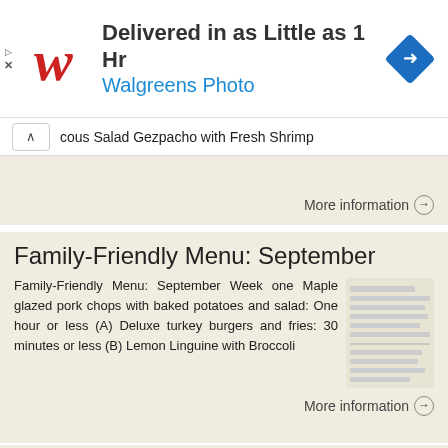[Figure (logo): Walgreens advertisement banner: 'Delivered in as Little as 1 Hr' with Walgreens Photo logo and navigation arrow icon]
cous Salad Gezpacho with Fresh Shrimp
More information →
Family-Friendly Menu: September
Family-Friendly Menu: September Week one Maple glazed pork chops with baked potatoes and salad: One hour or less (A) Deluxe turkey burgers and fries: 30 minutes or less (B) Lemon Linguine with Broccoli
More information →
Total-Body Transformation Challenge
Total-Body    Transformation    Challenge